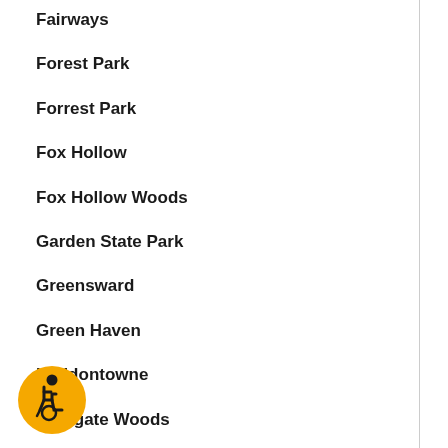Fairways
Forest Park
Forrest Park
Fox Hollow
Fox Hollow Woods
Garden State Park
Greensward
Green Haven
Haddontowne
Highgate Woods
Hunt Tract
Kenilworth Estates
[Figure (illustration): Accessibility icon — orange circular badge with wheelchair user symbol in black]